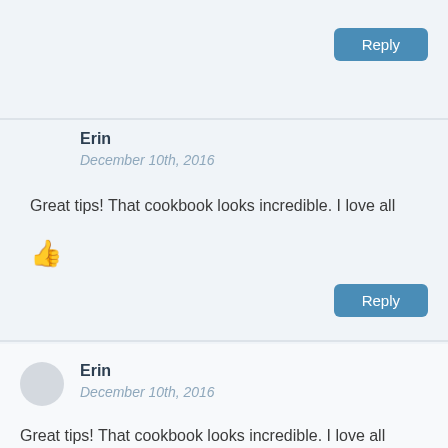[Figure (other): Reply button at top right]
Erin
December 10th, 2016
Great tips! That cookbook looks incredible. I love all
[Figure (other): Thumbs up icon]
[Figure (other): Reply button]
Erin
December 10th, 2016
Great tips! That cookbook looks incredible. I love all